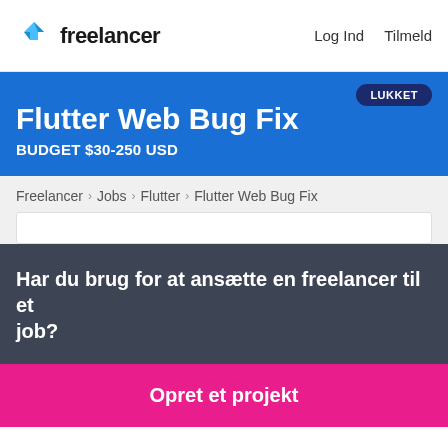freelancer   Log Ind   Tilmeld
Flutter Web Bug Fix
BUDGET $30-250 USD
LUKKET
Freelancer › Jobs › Flutter › Flutter Web Bug Fix
Har du brug for at ansætte en freelancer til et job?
Opret et projekt